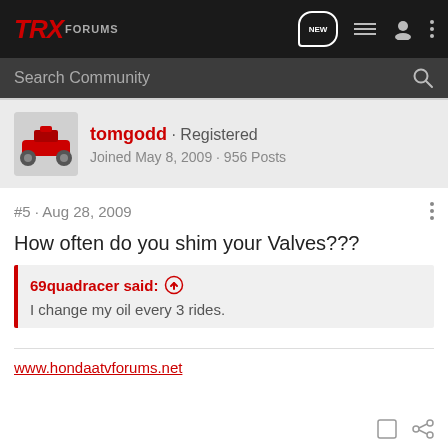TRX FORUMS
Search Community
tomgodd · Registered
Joined May 8, 2009 · 956 Posts
#5 · Aug 28, 2009
How often do you shim your Valves???
69quadracer said:
I change my oil every 3 rides.
www.hondaatvforums.net